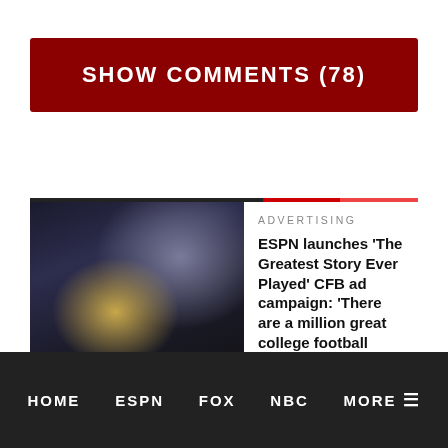SHOW COMMENTS (78)
[Figure (photo): ESPN advertising event photo — presenter at podium with large screen showing football crowd behind, silhouetted audience in foreground]
ADVERTISING
ESPN launches ‘The Greatest Story Ever Played’ CFB ad campaign: ‘There are a million great college football stories.’
[Figure (photo): Stadium crowd aerial photo — packed college football stadium with green field visible]
ESPN
HOME   ESPN   FOX   NBC   MORE ≡